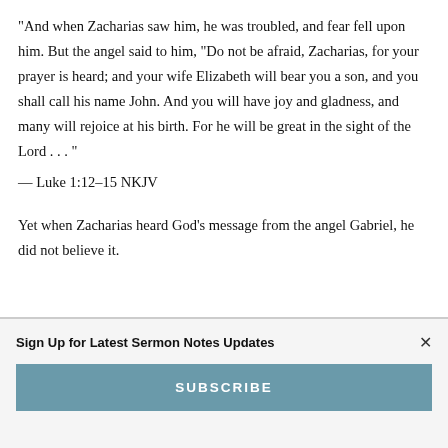“And when Zacharias saw him, he was troubled, and fear fell upon him. But the angel said to him, "Do not be afraid, Zacharias, for your prayer is heard; and your wife Elizabeth will bear you a son, and you shall call his name John. And you will have joy and gladness, and many will rejoice at his birth. For he will be great in the sight of the Lord . . . "
— Luke 1:12–15 NKJV
Yet when Zacharias heard God’s message from the angel Gabriel, he did not believe it.
Sign Up for Latest Sermon Notes Updates
SUBSCRIBE